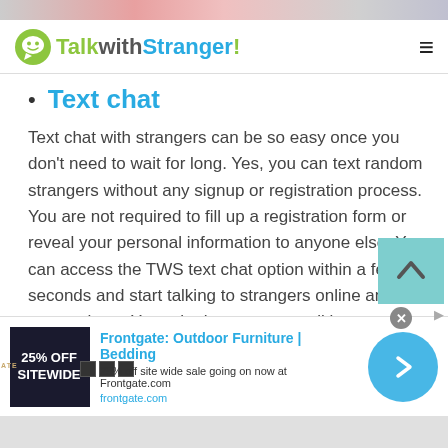TalkwithStranger!
Text chat
Text chat with strangers can be so easy once you don't need to wait for long. Yes, you can text random strangers without any signup or registration process. You are not required to fill up a registration form or reveal your personal information to anyone else. You can access the TWS text chat option within a few seconds and start talking to strangers online anytime or anywhere. Yes, whether you start talking to strangers in El Salvador or wherever you
[Figure (screenshot): Advertisement banner: Frontgate: Outdoor Furniture | Bedding. 25% off site wide sale going on now at Frontgate.com. frontgate.com]